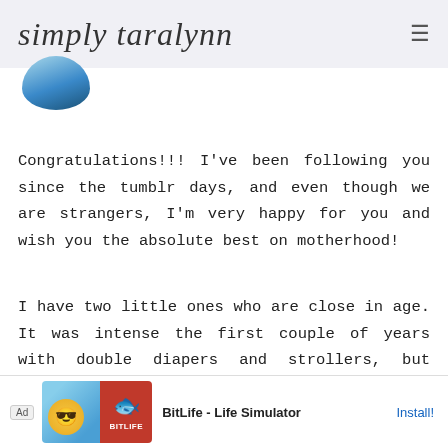simply taralynn
[Figure (photo): Circular avatar photo showing blue tones, partially cropped at top]
Congratulations!!! I've been following you since the tumblr days, and even though we are strangers, I'm very happy for you and wish you the absolute best on motherhood!
I have two little ones who are close in age. It was intense the first couple of years with double diapers and strollers, but they're finally both potty trained and are best of friends. There is nothing better than snuggling with each kid with
[Figure (screenshot): Advertisement banner for BitLife - Life Simulator app with Install button]